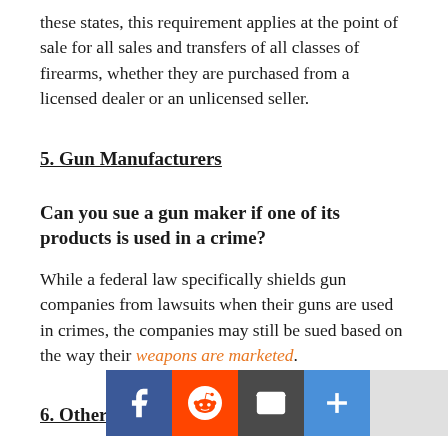these states, this requirement applies at the point of sale for all sales and transfers of all classes of firearms, whether they are purchased from a licensed dealer or an unlicensed seller.
5. Gun Manufacturers
Can you sue a gun maker if one of its products is used in a crime?
While a federal law specifically shields gun companies from lawsuits when their guns are used in crimes, the companies may still be sued based on the way their weapons are marketed.
6. Other Weapons
Switchblades: it is illegal to make, sell, distribute, or possess a switchblade throughout the country, with some